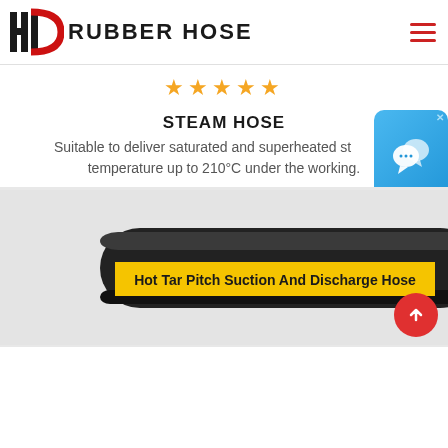HD RUBBER HOSE
★★★★★
STEAM HOSE
Suitable to deliver saturated and superheated st... temperature up to 210°C under the working.
[Figure (photo): Black rubber hose with yellow band labeled 'Hot Tar Pitch Suction And Discharge Hose']